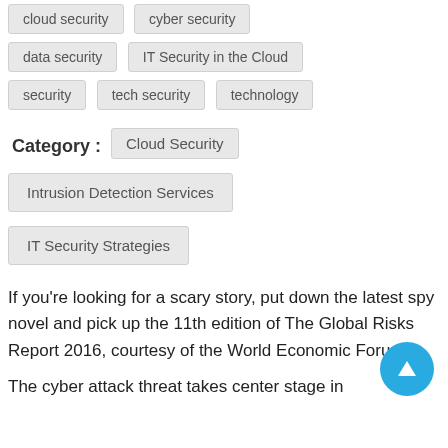cloud security
cyber security
data security
IT Security in the Cloud
security
tech security
technology
Category :  Cloud Security
Intrusion Detection Services
IT Security Strategies
If you're looking for a scary story, put down the latest spy novel and pick up the 11th edition of The Global Risks Report 2016, courtesy of the World Economic Forum.
The cyber attack threat takes center stage in